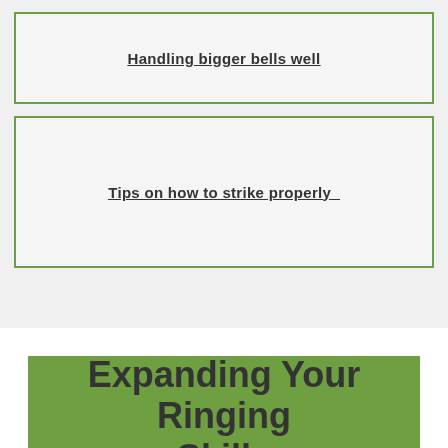Handling bigger bells well
Tips on how to strike properly_
Expanding Your Ringing Skills